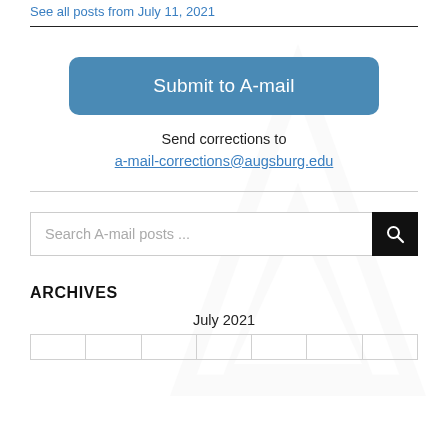See all posts from July 11, 2021
Submit to A-mail
Send corrections to a-mail-corrections@augsburg.edu
Search A-mail posts ...
ARCHIVES
July 2021
|  |  |  |  |  |  |  |